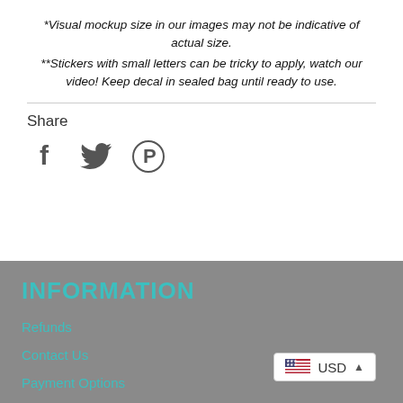*Visual mockup size in our images may not be indicative of actual size.
**Stickers with small letters can be tricky to apply, watch our video! Keep decal in sealed bag until ready to use.
Share
[Figure (infographic): Social share icons: Facebook (f), Twitter (bird), Pinterest (P)]
INFORMATION
Refunds
Contact Us
Payment Options
[Figure (infographic): USD currency selector widget with US flag icon and dropdown caret]